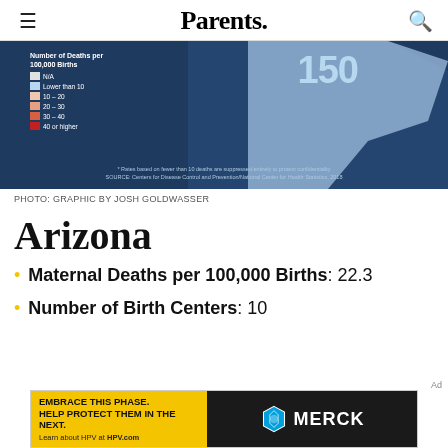Parents.
[Figure (map): Choropleth map of U.S. maternal deaths per 100,000 births. Legend shows color scale from light blue (lower than 10) through red (40 or higher). Number 150 visible. Source: Centers for Disease Control and Prevention/National Center for Health Statistics, 2018.]
PHOTO: GRAPHIC BY JOSH GOLDWASSER
Arizona
Maternal Deaths per 100,000 Births: 22.3
Number of Birth Centers: 10
[Figure (photo): Merck advertisement: 'Embrace this phase. Help protect them in the next.' Learn about HPV at HPV.com. Features two smiling people and the Merck logo.]